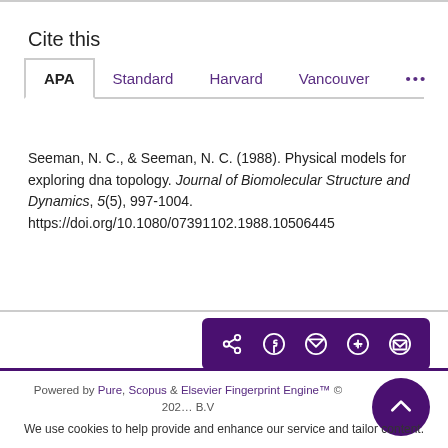Cite this
APA | Standard | Harvard | Vancouver | ...
Seeman, N. C., & Seeman, N. C. (1988). Physical models for exploring dna topology. Journal of Biomolecular Structure and Dynamics, 5(5), 997-1004. https://doi.org/10.1080/07391102.1988.10506445
[Figure (other): Social share buttons bar with share, Facebook, Twitter, LinkedIn, and email icons on dark purple background]
Powered by Pure, Scopus & Elsevier Fingerprint Engine™ © 202... B.V
We use cookies to help provide and enhance our service and tailor content.